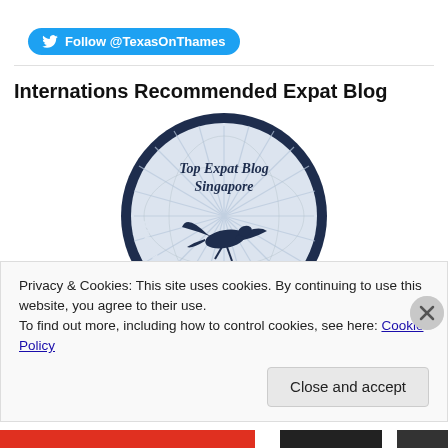[Figure (other): Twitter Follow button: Follow @TexasOnThames]
Internations Recommended Expat Blog
[Figure (logo): Circular badge: Top Expat Blog Singapore - Recommended by InterNations, with a flying bird silhouette in dark navy blue]
Privacy & Cookies: This site uses cookies. By continuing to use this website, you agree to their use.
To find out more, including how to control cookies, see here: Cookie Policy
Close and accept